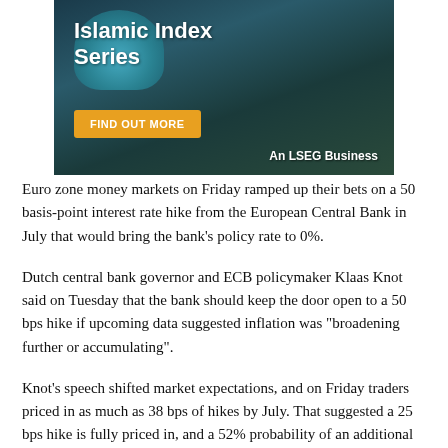[Figure (illustration): Advertisement banner for an Islamic Index Series by LSEG Business, showing an aerial photo of a mosque with blue domes, an orange 'FIND OUT MORE' button, and 'An LSEG Business' branding in the bottom right.]
Euro zone money markets on Friday ramped up their bets on a 50 basis-point interest rate hike from the European Central Bank in July that would bring the bank's policy rate to 0%.
Dutch central bank governor and ECB policymaker Klaas Knot said on Tuesday that the bank should keep the door open to a 50 bps hike if upcoming data suggested inflation was "broadening further or accumulating".
Knot's speech shifted market expectations, and on Friday traders priced in as much as 38 bps of hikes by July. That suggested a 25 bps hike is fully priced in, and a 52% probability of an additional 25 bps move.